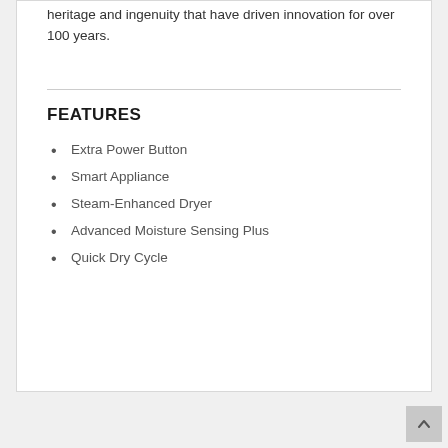heritage and ingenuity that have driven innovation for over 100 years.
FEATURES
Extra Power Button
Smart Appliance
Steam-Enhanced Dryer
Advanced Moisture Sensing Plus
Quick Dry Cycle